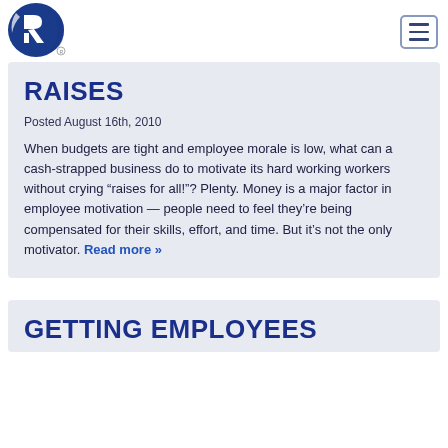[Figure (logo): Blue and white circular logo with letter R, company logo]
RAISES
Posted August 16th, 2010
When budgets are tight and employee morale is low, what can a cash-strapped business do to motivate its hard working workers without crying “raises for all!”? Plenty. Money is a major factor in employee motivation — people need to feel they’re being compensated for their skills, effort, and time. But it’s not the only motivator. Read more »
GETTING EMPLOYEES